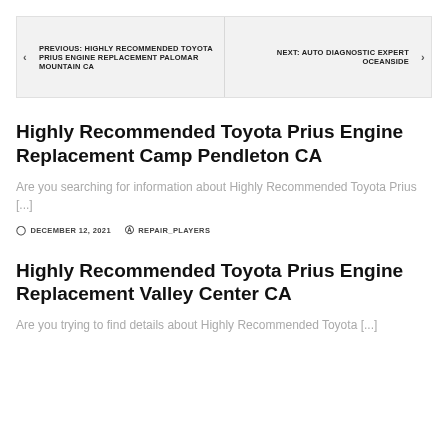PREVIOUS: HIGHLY RECOMMENDED TOYOTA PRIUS ENGINE REPLACEMENT PALOMAR MOUNTAIN CA | NEXT: AUTO DIAGNOSTIC EXPERT OCEANSIDE
Highly Recommended Toyota Prius Engine Replacement Camp Pendleton CA
Are you searching for information about Highly Recommended Toyota Prius [...]
DECEMBER 12, 2021   REPAIR_PLAYERS
Highly Recommended Toyota Prius Engine Replacement Valley Center CA
Are you trying to find details about Highly Recommended Toyota [...]